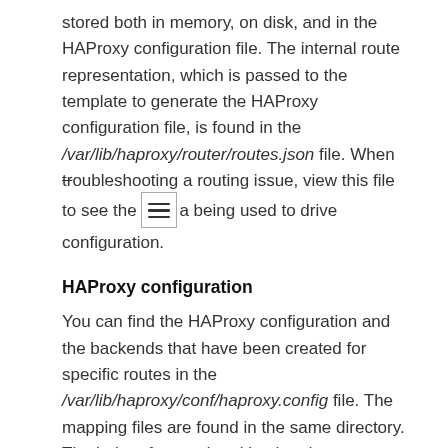stored both in memory, on disk, and in the HAProxy configuration file. The internal route representation, which is passed to the template to generate the HAProxy configuration file, is found in the /var/lib/haproxy/router/routes.json file. When troubleshooting a routing issue, view this file to see the [menu icon] a being used to drive configuration.
HAProxy configuration
You can find the HAProxy configuration and the backends that have been created for specific routes in the /var/lib/haproxy/conf/haproxy.config file. The mapping files are found in the same directory. The helper frontend and backends use mapping files when mapping incoming requests to a backend.
Certificates